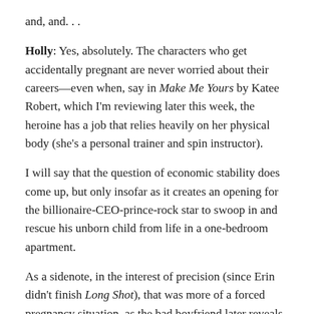and, and. . .
Holly: Yes, absolutely. The characters who get accidentally pregnant are never worried about their careers—even when, say in Make Me Yours by Katee Robert, which I'm reviewing later this week, the heroine has a job that relies heavily on her physical body (she's a personal trainer and spin instructor).
I will say that the question of economic stability does come up, but only insofar as it creates an opening for the billionaire-CEO-prince-rock star to swoop in and rescue his unborn child from life in a one-bedroom apartment.
As a sidenote, in the interest of precision (since Erin didn't finish Long Shot), that was more of a forced pregnancy situation, as the bad boyfriend later reveals that he sabotaged the condoms to tie Iris to him. However, Iris does